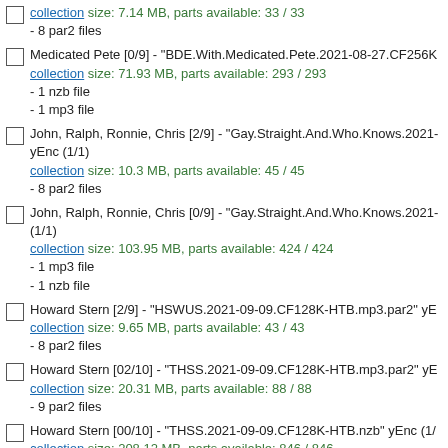collection size: 7.14 MB, parts available: 33 / 33
- 8 par2 files
Medicated Pete [0/9] - "BDE.With.Medicated.Pete.2021-08-27.CF256K
collection size: 71.93 MB, parts available: 293 / 293
- 1 nzb file
- 1 mp3 file
John, Ralph, Ronnie, Chris [2/9] - "Gay.Straight.And.Who.Knows.2021-
yEnc (1/1)
collection size: 10.3 MB, parts available: 45 / 45
- 8 par2 files
John, Ralph, Ronnie, Chris [0/9] - "Gay.Straight.And.Who.Knows.2021-
(1/1)
collection size: 103.95 MB, parts available: 424 / 424
- 1 mp3 file
- 1 nzb file
Howard Stern [2/9] - "HSWUS.2021-09-09.CF128K-HTB.mp3.par2" yE
collection size: 9.65 MB, parts available: 43 / 43
- 8 par2 files
Howard Stern [02/10] - "THSS.2021-09-09.CF128K-HTB.mp3.par2" yE
collection size: 20.31 MB, parts available: 88 / 88
- 9 par2 files
Howard Stern [00/10] - "THSS.2021-09-09.CF128K-HTB.nzb" yEnc (1/
collection size: 208.12 MB, parts available: 846 / 846
- 1 mp3 file
- 1 nzb file
Howard Stern [0/9] - "HSWUS.2021-09-09.CF128K-HTB.nzb" yEnc (1/
collection size: 97.33 MB, parts available: 396 / 396
- 1 mp3 file
- 1 nzb file
from JunkyButt - stern clips - [8/9] - "goofing on Gary drinking scotch 6-
collection size: 26.52 MB, parts available: 55 / 55
- 2 mp3 files